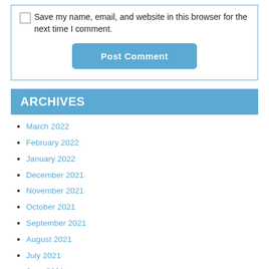Save my name, email, and website in this browser for the next time I comment.
Post Comment
ARCHIVES
March 2022
February 2022
January 2022
December 2021
November 2021
October 2021
September 2021
August 2021
July 2021
June 2021
May 2021